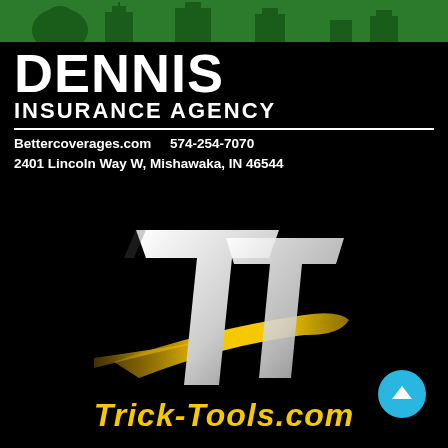[Figure (logo): Dennis Insurance Agency logo with green silhouette city/building banner at top, large white bold DENNIS text, INSURANCE AGENCY subtitle, divider line, website and phone number, and street address on black background]
[Figure (logo): Trick-Tools stylized TT logo — two large white italic T letters with a gold/yellow curved swoosh streak across the lower portion, on black background]
Trick-Tools.com